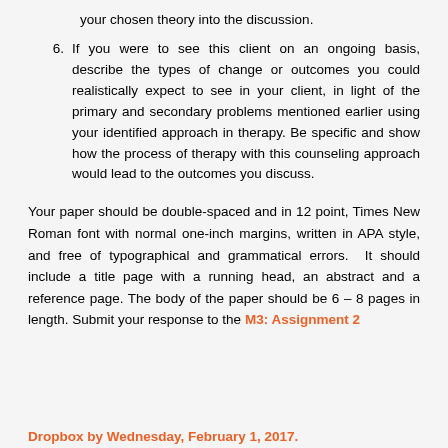your chosen theory into the discussion.
6. If you were to see this client on an ongoing basis, describe the types of change or outcomes you could realistically expect to see in your client, in light of the primary and secondary problems mentioned earlier using your identified approach in therapy. Be specific and show how the process of therapy with this counseling approach would lead to the outcomes you discuss.
Your paper should be double-spaced and in 12 point, Times New Roman font with normal one-inch margins, written in APA style, and free of typographical and grammatical errors.  It should include a title page with a running head, an abstract and a reference page. The body of the paper should be 6 – 8 pages in length. Submit your response to the M3: Assignment 2 Dropbox by Wednesday, February 1, 2017.